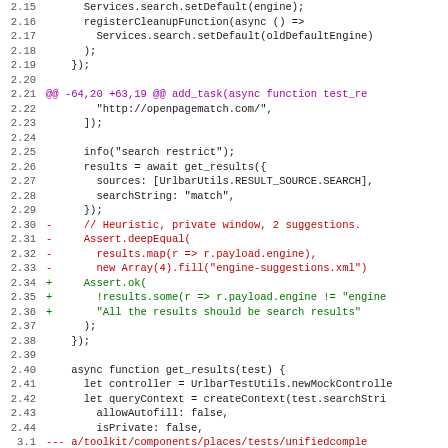Code diff showing JavaScript test file changes, lines 2.15 through 3.3
Lines include: registerCleanupFunction, Services.search.setDefault, add_task diff hunk, info call, get_results, Assert.deepEqual removed, Assert.ok added, async function get_results, let controller, let queryContext, allowAutofill, isPrivate, file path headers for toolkit/components/places/tests/unifiedcomplete